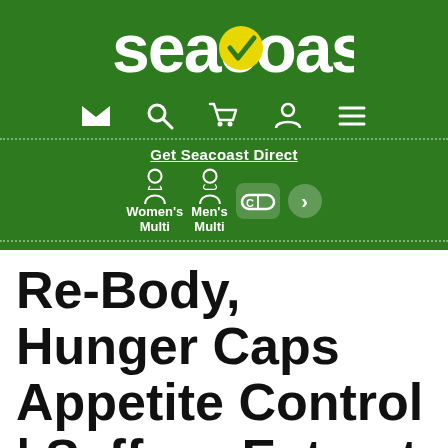[Figure (logo): Seacoast brand logo in white text on green background with yellow checkmark in the letter o]
Get Seacoast Direct | Women's Multi | Men's Multi
Re-Body, Hunger Caps Appetite Control | Saffron Extract to SafSlim